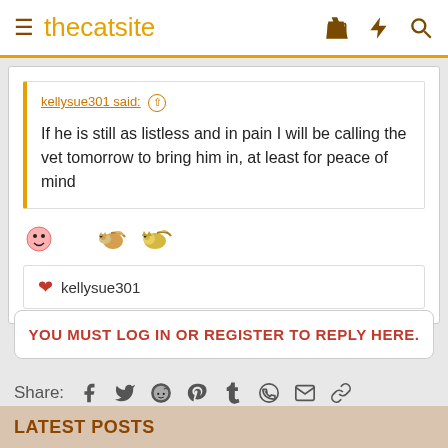thecatsite
kellysue301 said: ↑
If he is still as listless and in pain I will be calling the vet tomorrow to bring him in, at least for peace of mind
❤ kellysue301
YOU MUST LOG IN OR REGISTER TO REPLY HERE.
Share:
LATEST POSTS